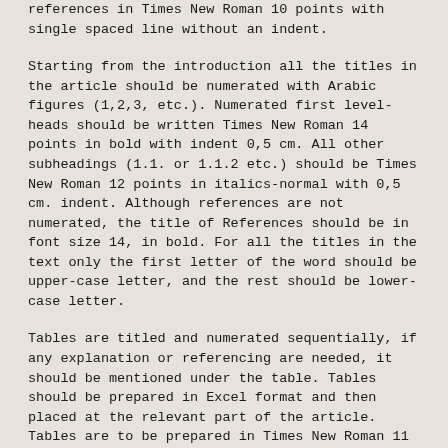references in Times New Roman 10 points with single spaced line without an indent.
Starting from the introduction all the titles in the article should be numerated with Arabic figures (1,2,3, etc.). Numerated first level-heads should be written Times New Roman 14 points in bold with indent 0,5 cm. All other subheadings (1.1. or 1.1.2 etc.) should be Times New Roman 12 points in italics-normal with 0,5 cm. indent. Although references are not numerated, the title of References should be in font size 14, in bold. For all the titles in the text only the first letter of the word should be upper-case letter, and the rest should be lower- case letter.
Tables are titled and numerated sequentially, if any explanation or referencing are needed, it should be mentioned under the table. Tables should be prepared in Excel format and then placed at the relevant part of the article. Tables are to be prepared in Times New Roman 11 points with single space line without any indent. Number of the tables should be written in bold with upper-case letters, and only the first letters of the title